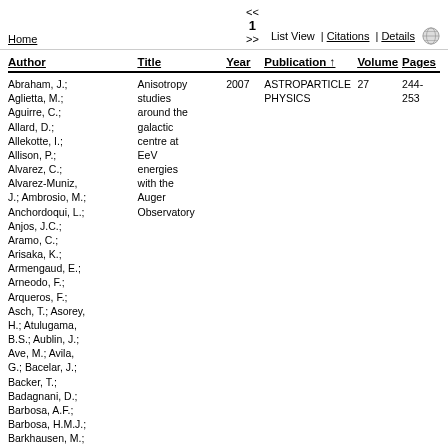Home  << 1 >>  List View | Citations | Details
| Author | Title | Year | Publication ↑ | Volume | Pages |
| --- | --- | --- | --- | --- | --- |
| Abraham, J.; Aglietta, M.; Aguirre, C.; Allard, D.; Allekotte, I.; Allison, P.; Alvarez, C.; Alvarez-Muniz, J.; Ambrosio, M.; Anchordoqui, L.; Anjos, J.C.; Aramo, C.; Arisaka, K.; Armengaud, E.; Arneodo, F.; Arqueros, F.; Asch, T.; Asorey, H.; Atulugama, B.S.; Aublin, J.; Ave, M.; Avila, G.; Bacelar, J.; Backer, T.; Badagnani, D.; Barbosa, A.F.; Barbosa, H.M.J.; Barkhausen, M.; Barnhill, D.; Barroso, S.L.C.; Bauleo, P.; | Anisotropy studies around the galactic centre at EeV energies with the Auger Observatory | 2007 | ASTROPARTICLE PHYSICS | 27 | 244-253 |